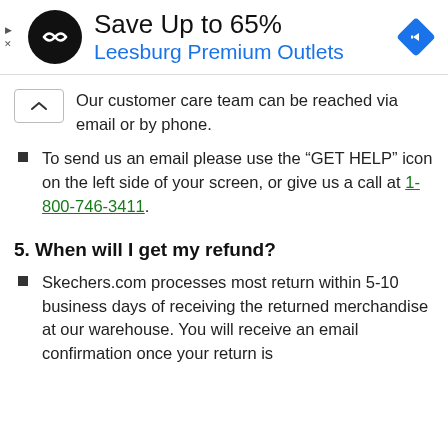[Figure (infographic): Advertisement banner for Leesburg Premium Outlets with logo, 'Save Up to 65%' headline, blue subtitle, and navigation diamond icon]
Our customer care team can be reached via email or by phone.
To send us an email please use the “GET HELP” icon on the left side of your screen, or give us a call at 1-800-746-3411.
5. When will I get my refund?
Skechers.com processes most return within 5-10 business days of receiving the returned merchandise at our warehouse. You will receive an email confirmation once your return is